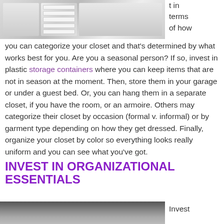[Figure (photo): Top image showing closet organization — folded items on shelves, drawers, and hanging white garments]
t in terms of how you can categorize your closet and that's determined by what works best for you. Are you a seasonal person? If so, invest in plastic storage containers where you can keep items that are not in season at the moment. Then, store them in your garage or under a guest bed. Or, you can hang them in a separate closet, if you have the room, or an armoire. Others may categorize their closet by occasion (formal v. informal) or by garment type depending on how they get dressed. Finally, organize your closet by color so everything looks really uniform and you can see what you've got.
INVEST IN ORGANIZATIONAL ESSENTIALS
[Figure (photo): Bottom image showing organizational items for a closet]
Invest